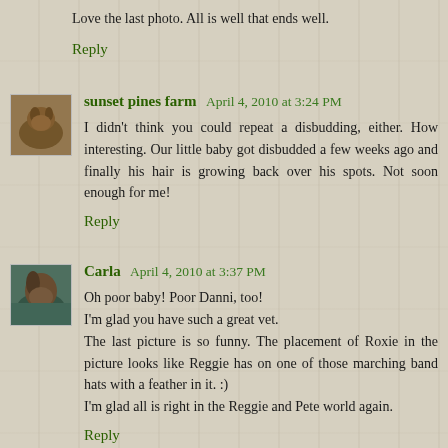Love the last photo. All is well that ends well.
Reply
sunset pines farm  April 4, 2010 at 3:24 PM
I didn't think you could repeat a disbudding, either. How interesting. Our little baby got disbudded a few weeks ago and finally his hair is growing back over his spots. Not soon enough for me!
Reply
Carla  April 4, 2010 at 3:37 PM
Oh poor baby! Poor Danni, too!
I'm glad you have such a great vet.
The last picture is so funny. The placement of Roxie in the picture looks like Reggie has on one of those marching band hats with a feather in it. :)
I'm glad all is right in the Reggie and Pete world again.
Reply